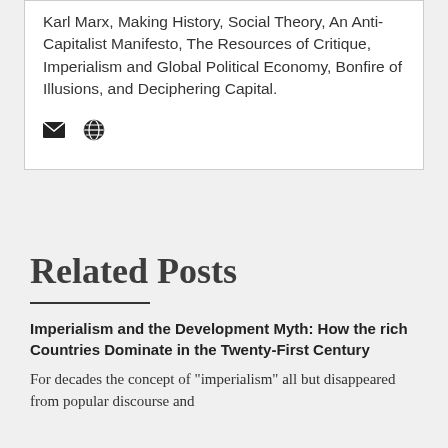Karl Marx, Making History, Social Theory, An Anti-Capitalist Manifesto, The Resources of Critique, Imperialism and Global Political Economy, Bonfire of Illusions, and Deciphering Capital.
[Figure (other): Email icon and globe/web icon]
Related Posts
Imperialism and the Development Myth: How the rich Countries Dominate in the Twenty-First Century
For decades the concept of "imperialism" all but disappeared from popular discourse and